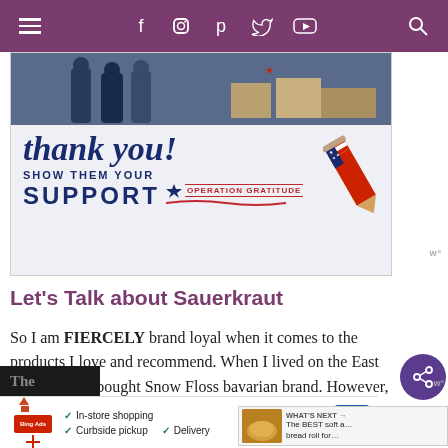Navigation bar with hamburger menu, social icons (Facebook, Instagram, Pinterest, Twitter, YouTube), and search icon
[Figure (illustration): Operation Gratitude advertisement. Top portion shows a photo of people in uniform with boxes. Lower portion shows cursive 'thank you!' text, 'SHOW THEM YOUR SUPPORT' text, and Operation Gratitude logo with patriotic pencil graphic on white/blue background.]
Let’s Talk about Sauerkraut
So I am FIERCELY brand loyal when it comes to the products I love and recommend. When I lived on the East Coast, I only bought Snow Floss bavarian brand. However, when I moved to Arizona, I couldn’t find it. So I reached out to the company. And guess what I found out?!